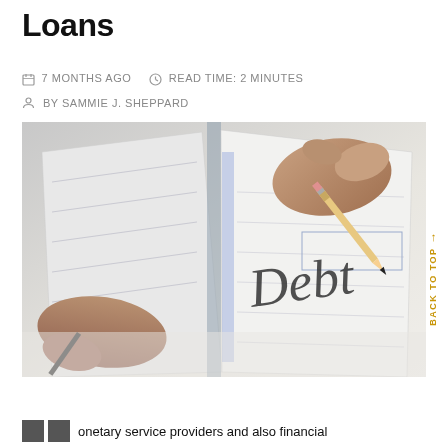Loans
7 MONTHS AGO   READ TIME: 2 MINUTES
BY SAMMIE J. SHEPPARD
[Figure (photo): Hands writing the word 'Debt' in a checkbook with a pencil]
BACK TO TOP
onetary service providers and also financial